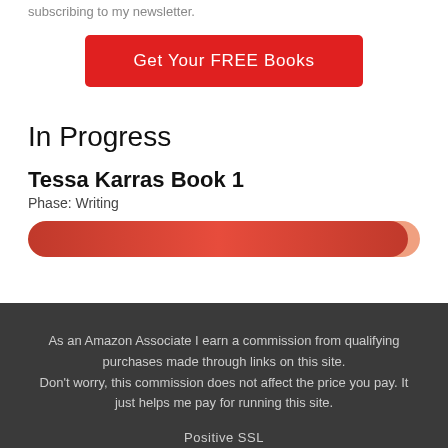subscribing to my newsletter.
Get Your FREE Books
In Progress
Tessa Karras Book 1
Phase: Writing
[Figure (infographic): A red/orange progress bar nearly full, indicating writing phase progress for Tessa Karras Book 1]
As an Amazon Associate I earn a commission from qualifying purchases made through links on this site. Don't worry, this commission does not affect the price you pay. It just helps me pay for running this site.
Positive SSL